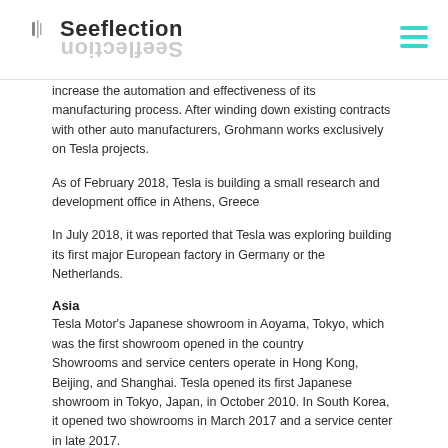Seeflection
increase the automation and effectiveness of its manufacturing process. After winding down existing contracts with other auto manufacturers, Grohmann works exclusively on Tesla projects.
As of February 2018, Tesla is building a small research and development office in Athens, Greece
In July 2018, it was reported that Tesla was exploring building its first major European factory in Germany or the Netherlands.
Asia
Tesla Motor's Japanese showroom in Aoyama, Tokyo, which was the first showroom opened in the country
Showrooms and service centers operate in Hong Kong, Beijing, and Shanghai. Tesla opened its first Japanese showroom in Tokyo, Japan, in October 2010. In South Korea, it opened two showrooms in March 2017 and a service center in late 2017.
In July 2018, Tesla signed an agreement with Chinese authorities to build a Gigafactory 3 in Shanghai, China, which is Tesla's first Gigafactory